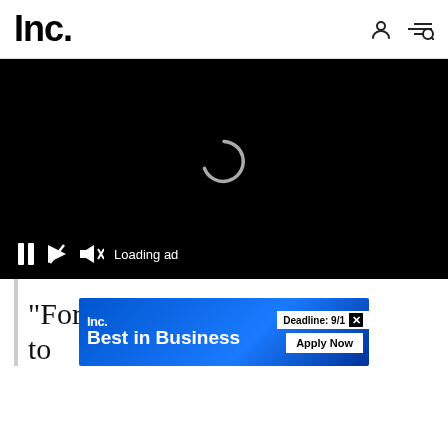Inc.
[Figure (screenshot): Black video player with loading spinner and playback controls showing pause, resize, mute, and 'Loading ad' text]
"For me, sometimes I have to
[Figure (infographic): Inc. Best in Business advertisement banner with 'Deadline: 9/1' and 'Apply Now' button]